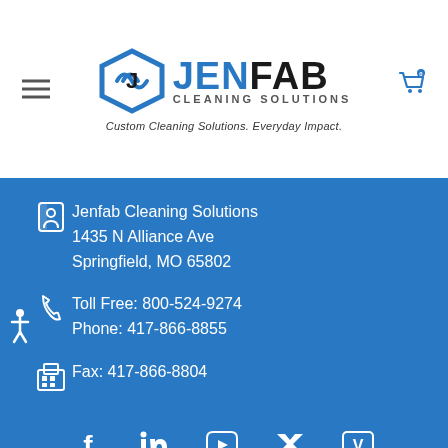[Figure (logo): JenFab Cleaning Solutions logo with blue arrow icon and tagline 'Custom Cleaning Solutions. Everyday Impact.']
Jenfab Cleaning Solutions
1435 N Alliance Ave
Springfield, MO 65802
Toll Free: 800-524-9274
Phone: 417-866-8855
Fax: 417-866-8804
[Figure (infographic): Social media icons: Facebook, LinkedIn, YouTube, Twitter, Vimeo]